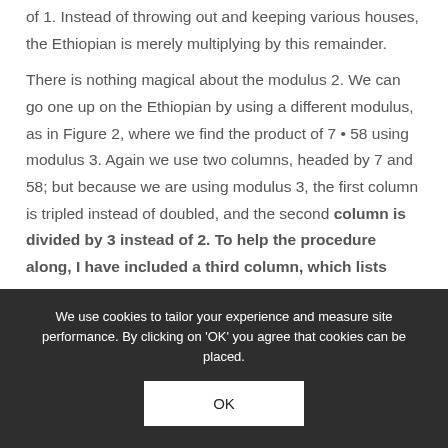of 1. Instead of throwing out and keeping various houses, the Ethiopian is merely multiplying by this remainder.
There is nothing magical about the modulus 2. We can go one up on the Ethiopian by using a different modulus, as in Figure 2, where we find the product of 7 • 58 using modulus 3. Again we use two columns, headed by 7 and 58; but because we are using modulus 3, the first column is tripled instead of doubled, and the second column is divided by 3 instead of 2. To help the procedure along, I have included a third column, which lists
We use cookies to tailor your experience and measure site performance. By clicking on 'OK' you agree that cookies can be placed.